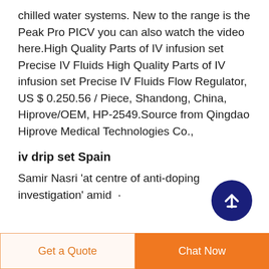chilled water systems. New to the range is the Peak Pro PICV you can also watch the video here.High Quality Parts of IV infusion set Precise IV Fluids High Quality Parts of IV infusion set Precise IV Fluids Flow Regulator, US $ 0.250.56 / Piece, Shandong, China, Hiprove/OEM, HP-2549.Source from Qingdao Hiprove Medical Technologies Co.,
iv drip set Spain
Samir Nasri 'at centre of anti-doping investigation' amid ·
Get a Quote   Chat Now